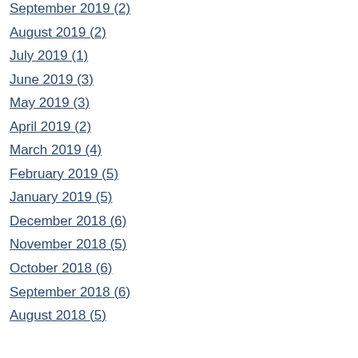September 2019 (2)
August 2019 (2)
July 2019 (1)
June 2019 (3)
May 2019 (3)
April 2019 (2)
March 2019 (4)
February 2019 (5)
January 2019 (5)
December 2018 (6)
November 2018 (5)
October 2018 (6)
September 2018 (6)
August 2018 (5)